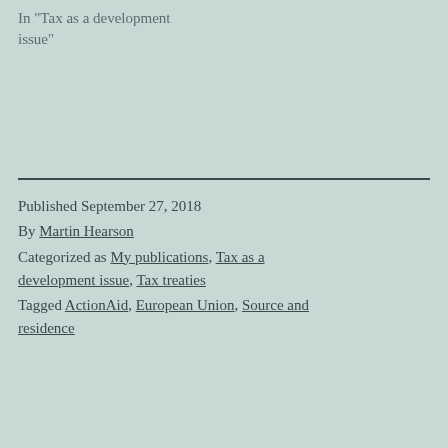In "Tax as a development issue"
Published September 27, 2018
By Martin Hearson
Categorized as My publications, Tax as a development issue, Tax treaties
Tagged ActionAid, European Union, Source and residence